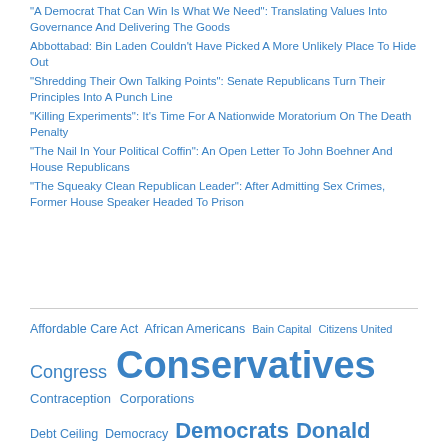"A Democrat That Can Win Is What We Need": Translating Values Into Governance And Delivering The Goods
Abbottabad: Bin Laden Couldn't Have Picked A More Unlikely Place To Hide Out
"Shredding Their Own Talking Points": Senate Republicans Turn Their Principles Into A Punch Line
"Killing Experiments": It's Time For A Nationwide Moratorium On The Death Penalty
"The Nail In Your Political Coffin": An Open Letter To John Boehner And House Republicans
"The Squeaky Clean Republican Leader": After Admitting Sex Crimes, Former House Speaker Headed To Prison
Affordable Care Act  African Americans  Bain Capital  Citizens United  Congress  Conservatives  Contraception  Corporations  Debt Ceiling  Democracy  Democrats  Donald Trump  Economic inequality